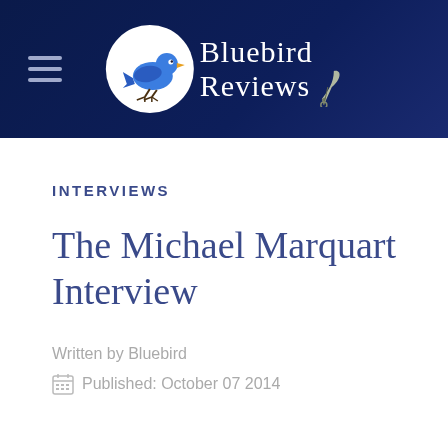Bluebird Reviews
INTERVIEWS
The Michael Marquart Interview
Written by Bluebird
Published: October 07 2014